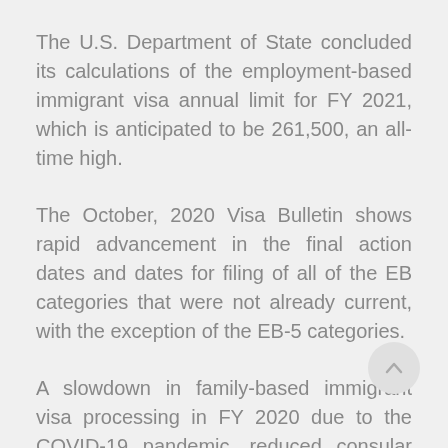The U.S. Department of State concluded its calculations of the employment-based immigrant visa annual limit for FY 2021, which is anticipated to be 261,500, an all-time high.
The October, 2020 Visa Bulletin shows rapid advancement in the final action dates and dates for filing of all of the EB categories that were not already current, with the exception of the EB-5 categories.
A slowdown in family-based immigrant visa processing in FY 2020 due to the COVID-19 pandemic, reduced consular operations, issuance of